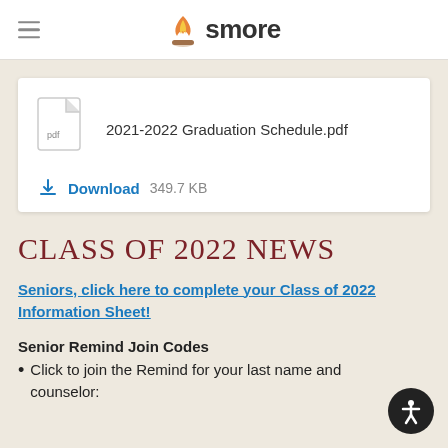smore
[Figure (screenshot): PDF file card showing '2021-2022 Graduation Schedule.pdf' with a download link and file size of 349.7 KB]
CLASS OF 2022 NEWS
Seniors, click here to complete your Class of 2022 Information Sheet!
Senior Remind Join Codes
Click to join the Remind for your last name and counselor: